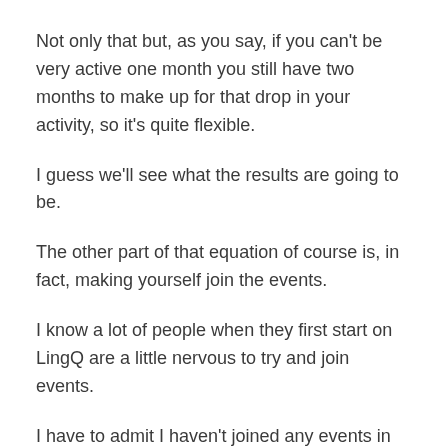Not only that but, as you say, if you can't be very active one month you still have two months to make up for that drop in your activity, so it's quite flexible.
I guess we'll see what the results are going to be.
The other part of that equation of course is, in fact, making yourself join the events.
I know a lot of people when they first start on LingQ are a little nervous to try and join events.
I have to admit I haven't joined any events in any other languages myself, so today, to follow some of my own instructions or to take some of my own medicine, I've decided I'm going to start.